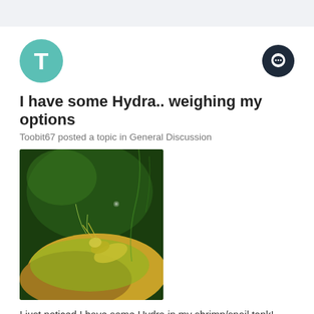[Figure (photo): Avatar circle with letter T in teal/green color]
I have some Hydra.. weighing my options
Toobit67 posted a topic in General Discussion
[Figure (photo): Close-up photo of a shrimp on a rock in an aquarium, with green algae and dark water background, hydra visible]
I just noticed I have some Hydra in my shrimp/snail tank! Looking for advice... the tank is only about a month old,
February 22, 2021   3 replies   hydra